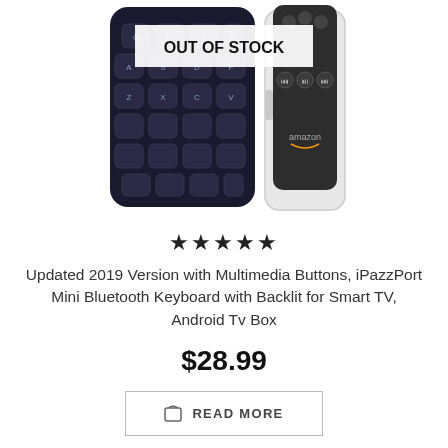[Figure (photo): Two remote controls/keyboards side by side. Left: a black mini Bluetooth keyboard with QWERTY keys. Right: an Amazon remote control in a white/silver case. An 'OUT OF STOCK' badge overlays the top-center of the image.]
OUT OF STOCK
★★★★★
Updated 2019 Version with Multimedia Buttons, iPazzPort Mini Bluetooth Keyboard with Backlit for Smart TV, Android Tv Box
$28.99
READ MORE